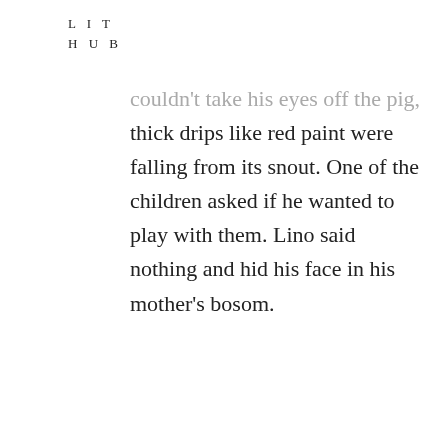L I T
H U B
couldn't take his eyes off the pig, thick drips like red paint were falling from its snout. One of the children asked if he wanted to play with them. Lino said nothing and hid his face in his mother's bosom.